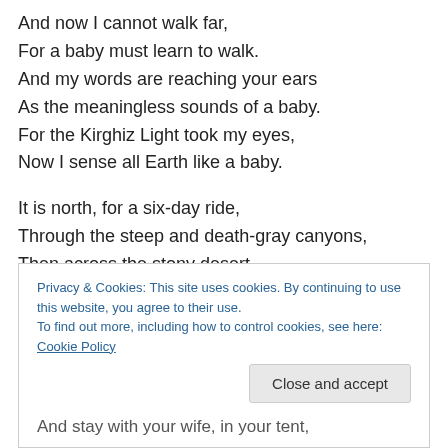And now I cannot walk far,
For a baby must learn to walk.
And my words are reaching your ears
As the meaningless sounds of a baby.
For the Kirghiz Light took my eyes,
Now I sense all Earth like a baby.

It is north, for a six-day ride,
Through the steep and death-gray canyons,
Then across the stony desert
To the mountain whose peak is a white dzurt.
Privacy & Cookies: This site uses cookies. By continuing to use this website, you agree to their use.
To find out more, including how to control cookies, see here: Cookie Policy
And stay with your wife, in your tent,